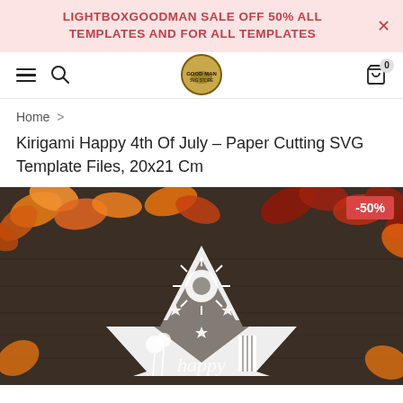LIGHTBOXGOODMAN SALE OFF 50% ALL TEMPLATES AND FOR ALL TEMPLATES
[Figure (screenshot): Navigation bar with hamburger menu, search icon, circular logo badge, and cart icon showing 0 items]
Home >
Kirigami Happy 4th Of July – Paper Cutting SVG Template Files, 20x21 Cm
[Figure (photo): Product photo showing a white paper-cut kirigami star design with 'happy' text, fireworks, and patriotic elements against a dark wood background decorated with autumn leaves. A red -50% discount badge is visible in the top right corner.]